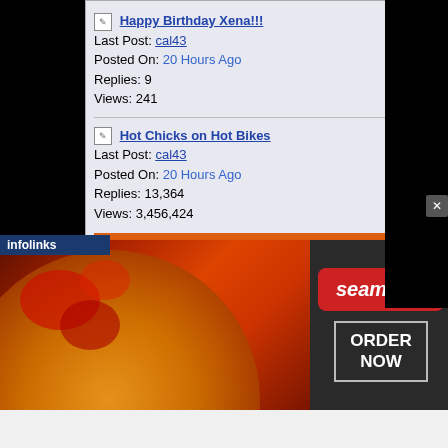Happy Birthday Xena!!! Last Post: cal43 Posted On: 20 Hours Ago Replies: 9 Views: 241
Hot Chicks on Hot Bikes Last Post: cal43 Posted On: 20 Hours Ago Replies: 13,364 Views: 3,456,424
More...
[Figure (logo): Amazon.com logo with arrow]
Motorcycle & ATV
infolinks
[Figure (infographic): Seamless food delivery advertisement banner with pizza image, seamless logo pill, and ORDER NOW button with close X]
seamless ORDER NOW